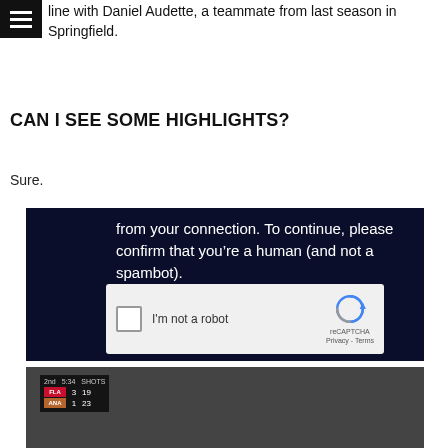line with Daniel Audette, a teammate from last season in Springfield.
CAN I SEE SOME HIGHLIGHTS?
Sure.
[Figure (screenshot): A dark navy background screenshot showing a CAPTCHA dialog. Text reads 'from your connection. To continue, please confirm that you’re a human (and not a spambot).' with a reCAPTCHA 'I'm not a robot' checkbox widget.]
[Figure (screenshot): Bottom portion of a video screenshot showing a hockey scoreboard: 2nd period, 5:34, SHOTS. FLA 3 19, ANA 1 23.]